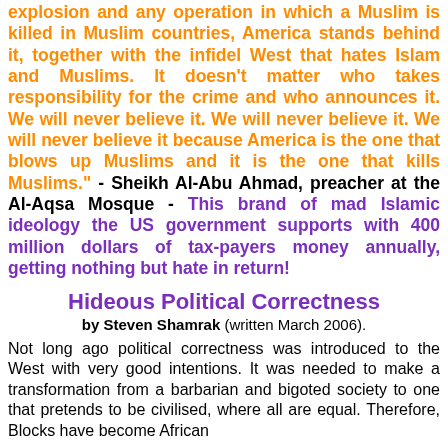explosion and any operation in which a Muslim is killed in Muslim countries, America stands behind it, together with the infidel West that hates Islam and Muslims. It doesn't matter who takes responsibility for the crime and who announces it. We will never believe it. We will never believe it. We will never believe it because America is the one that blows up Muslims and it is the one that kills Muslims." - Sheikh Al-Abu Ahmad, preacher at the Al-Aqsa Mosque - This brand of mad Islamic ideology the US government supports with 400 million dollars of tax-payers money annually, getting nothing but hate in return!
Hideous Political Correctness
by Steven Shamrak (written March 2006).
Not long ago political correctness was introduced to the West with very good intentions. It was needed to make a transformation from a barbarian and bigoted society to one that pretends to be civilised, where all are equal. Therefore, Blacks have become African